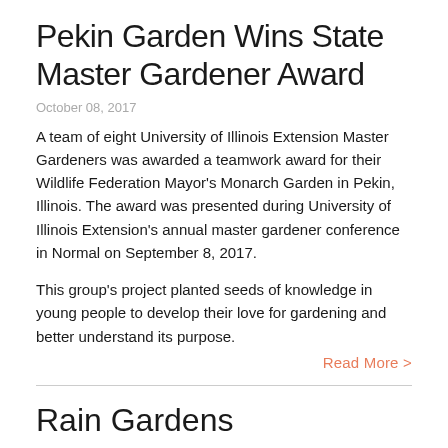Pekin Garden Wins State Master Gardener Award
October 08, 2017
A team of eight University of Illinois Extension Master Gardeners was awarded a teamwork award for their Wildlife Federation Mayor's Monarch Garden in Pekin, Illinois. The award was presented during University of Illinois Extension's annual master gardener conference in Normal on September 8, 2017.
This group's project planted seeds of knowledge in young people to develop their love for gardening and better understand its purpose.
Read More >
Rain Gardens